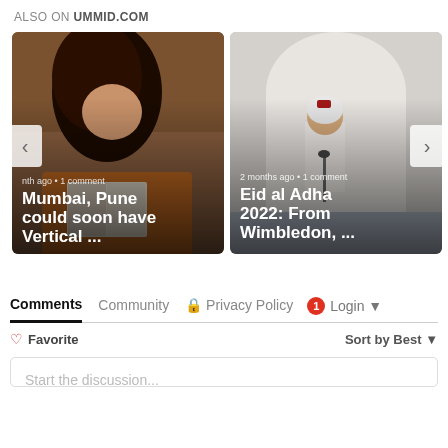ALSO ON UMMID.COM
[Figure (photo): Carousel of article cards: 1) Woman reading - Mumbai, Pune could soon have Vertical ... (1 month ago · 1 comment); 2) Man at mosque - Eid al Adha 2022: From Wimbledon, ... (2 months ago · 1 comment); 3) Partially visible third card]
Comments  Community  🔒 Privacy Policy  1  Login
♡ Favorite    Sort by Best
Start the discussion...